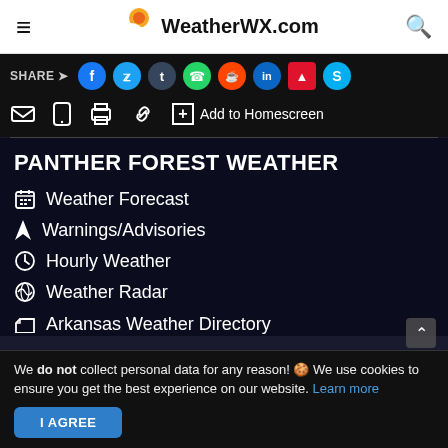WeatherWX.com
[Figure (screenshot): Share bar with social media icons: Facebook, Twitter, Tumblr, WhatsApp, Reddit, LinkedIn, Flipboard, Skype; and action icons: email, mobile, print, link, Add to Homescreen]
PANTHER FOREST WEATHER
Weather Forecast
Warnings/Advisories
Hourly Weather
Weather Radar
Arkansas Weather Directory
We do not collect personal data for any reason! 🍪 We use cookies to ensure you get the best experience on our website. Learn more